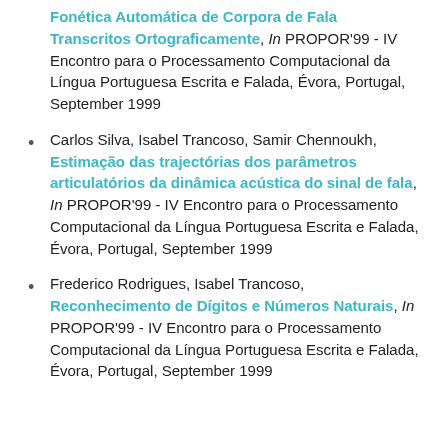Fonética Automática de Corpora de Fala Transcritos Ortograficamente, In PROPOR'99 - IV Encontro para o Processamento Computacional da Língua Portuguesa Escrita e Falada, Évora, Portugal, September 1999
Carlos Silva, Isabel Trancoso, Samir Chennoukh, Estimação das trajectórias dos parâmetros articulatórios da dinâmica acústica do sinal de fala, In PROPOR'99 - IV Encontro para o Processamento Computacional da Língua Portuguesa Escrita e Falada, Évora, Portugal, September 1999
Frederico Rodrigues, Isabel Trancoso, Reconhecimento de Dígitos e Números Naturais, In PROPOR'99 - IV Encontro para o Processamento Computacional da Língua Portuguesa Escrita e Falada, Évora, Portugal, September 1999